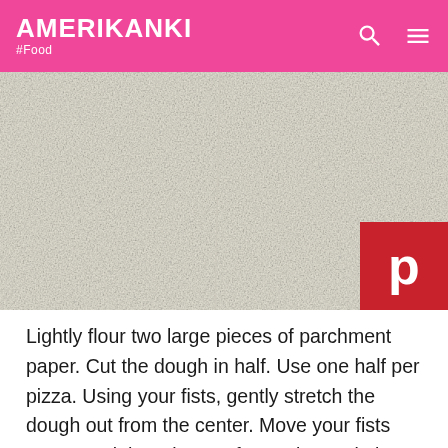AMERIKANKI #Food
[Figure (photo): Close-up photograph of lightly floured parchment paper with dough, showing a textured white/cream surface with small dark specks from flour.]
Lightly flour two large pieces of parchment paper. Cut the dough in half. Use one half per pizza. Using your fists, gently stretch the dough out from the center. Move your fists out toward the edges to form a large circle. Stretch the dough out as much as possible, then roll out to form a 12-inch circle. Place the dough on a piece of floured parchment. Place the parchment and dough on a sheet pan